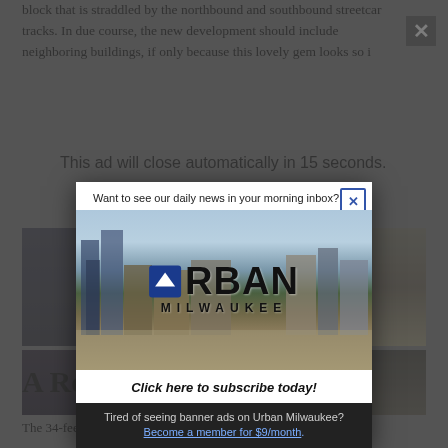block that is straddled by the northbound and southbound streetcar tracks. In due course, the new development should include neighboring buildings, if only because this lovely gem looks so i…
This ad will close automatically in 15 seconds.
[Figure (photo): Background article photos showing building interiors and exteriors, dimmed behind modal overlay]
[Figure (infographic): Urban Milwaukee newsletter subscription modal popup with city skyline background and Urban Milwaukee logo]
Want to see our daily news in your morning inbox?
Click here to subscribe today!
Tired of seeing banner ads on Urban Milwaukee? Become a member for $9/month.
A Return to its Roots
The 34-feet-by-120-feet building, constructed at a cost of